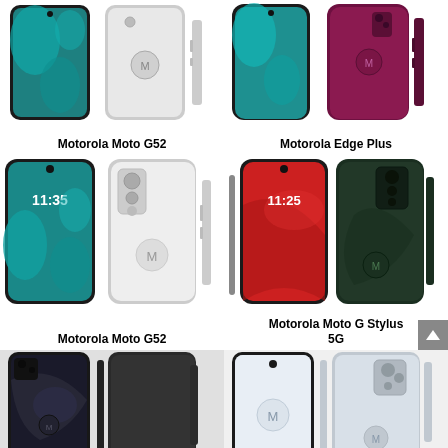[Figure (photo): Motorola Moto G52 smartphone front, back, and side views in white/silver color]
Motorola Moto G52
[Figure (photo): Motorola Edge Plus smartphone front, back, and side views in purple/maroon color]
Motorola Edge Plus
[Figure (photo): Motorola Moto G52 smartphone front, back, and side views in white/silver color (larger image)]
Motorola Moto G52
[Figure (photo): Motorola Moto G Stylus 5G smartphone front, back, and side views in dark green color with stylus]
Motorola Moto G Stylus 5G
[Figure (photo): Motorola smartphone front, back, and side views in dark/black color]
[Figure (photo): Motorola smartphone front, back, and side views in silver/gray color]